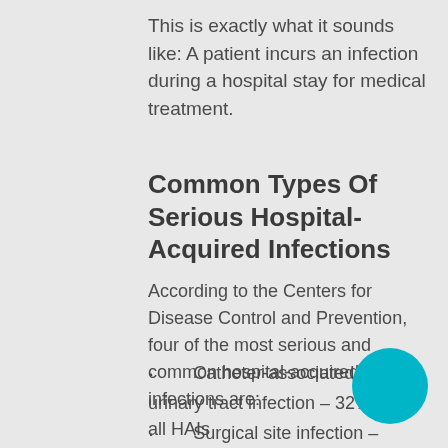This is exactly what it sounds like: A patient incurs an infection during a hospital stay for medical treatment.
Common Types Of Serious Hospital-Acquired Infections
According to the Centers for Disease Control and Prevention, four of the most serious and common hospital-acquired infections are:
· Catheter-associated urinary tract infection – 32% of all HAIs
· Surgical site infection – 22% of